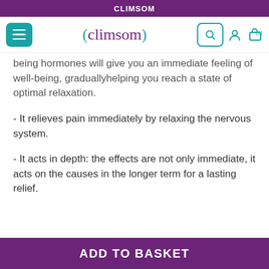CLIMSOM
[Figure (screenshot): Climsom website navigation bar with hamburger menu, logo, search button, user icon, and cart icon showing (0)]
being hormones will give you an immediate feeling of well-being, graduallyhelping you reach a state of optimal relaxation.
- It relieves pain immediately by relaxing the nervous system.
- It acts in depth: the effects are not only immediate, it acts on the causes in the longer term for a lasting relief.
ADD TO BASKET